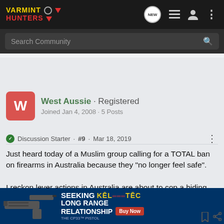[Figure (screenshot): Varmint Hunters forum website header with logo, navigation icons including NEW badge, list icon, user icon, and vertical dots menu]
Search Community
West Aussie · Registered
Joined Jan 4, 2008 · 5 Posts
Discussion Starter · #9 · Mar 18, 2019
Just heard today of a Muslim group calling for a TOTAL ban on firearms in Australia because they "no longer feel safe".

I reckon lever actions in Australia are about to cop a hiding, too.
[Figure (photo): Kel-Tec advertisement banner: SEEKING LONG RANGE RELATIONSHIP - THE CP33 PISTOL with Buy Now button]